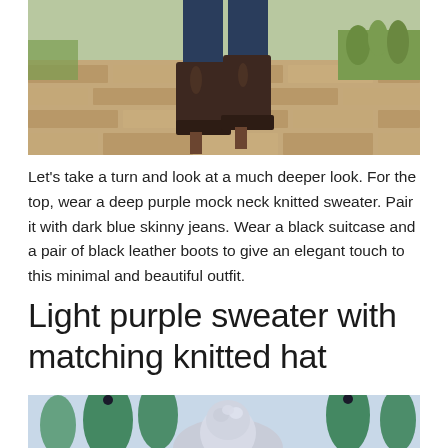[Figure (photo): Photo of dark brown leather high-heel ankle boots worn with dark blue skinny jeans, walking on a brick/cobblestone path with grass visible on the side]
Let's take a turn and look at a much deeper look. For the top, wear a deep purple mock neck knitted sweater. Pair it with dark blue skinny jeans. Wear a black suitcase and a pair of black leather boots to give an elegant touch to this minimal and beautiful outfit.
Light purple sweater with matching knitted hat
[Figure (photo): Photo showing a person wearing a light purple/grey knitted hat with a large fluffy pom-pom, with green tasseled decorations visible in the background]